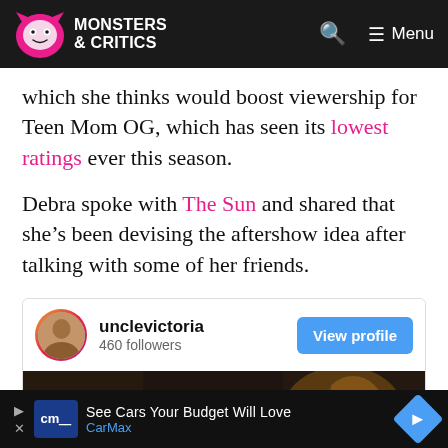Monsters & Critics — site navigation header
which she thinks would boost viewership for Teen Mom OG, which has seen its lowest ratings ever this season.
Debra spoke with The Sun and shared that she's been devising the aftershow idea after talking with some of her friends.
[Figure (screenshot): Instagram embed card for unclevictoria showing 460 followers and a View profile button, with a dark-toned photo below]
[Figure (screenshot): CarMax advertisement bar at bottom: 'See Cars Your Budget Will Love' with CarMax logo and navigation arrow icon]